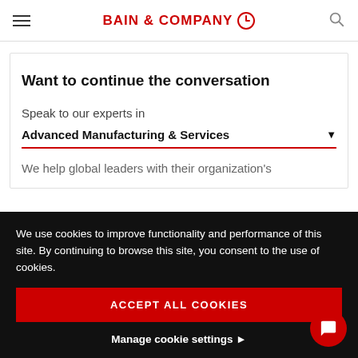BAIN & COMPANY
Want to continue the conversation
Speak to our experts in
Advanced Manufacturing & Services
We help global leaders with their organization's
We use cookies to improve functionality and performance of this site. By continuing to browse this site, you consent to the use of cookies.
ACCEPT ALL COOKIES
Manage cookie settings ▶